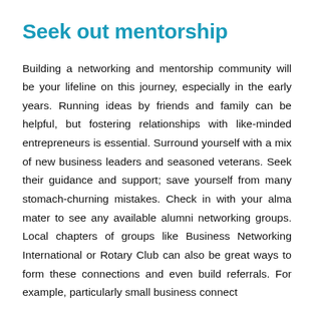Seek out mentorship
Building a networking and mentorship community will be your lifeline on this journey, especially in the early years. Running ideas by friends and family can be helpful, but fostering relationships with like-minded entrepreneurs is essential. Surround yourself with a mix of new business leaders and seasoned veterans. Seek their guidance and support; save yourself from many stomach-churning mistakes. Check in with your alma mater to see any available alumni networking groups. Local chapters of groups like Business Networking International or Rotary Club can also be great ways to form these connections and even build referrals. For example, particularly small business connect